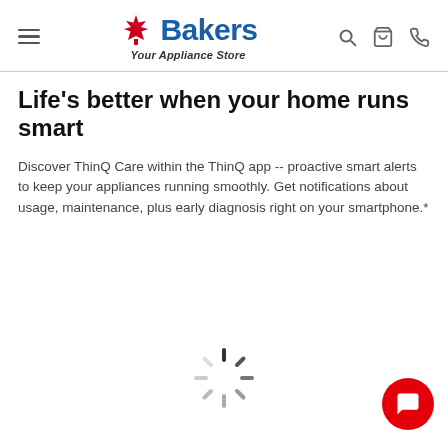[Figure (logo): Bakers Your Appliance Store logo with Canadian maple leaf and navigation icons (menu, search, cart, phone)]
Life's better when your home runs smart
Discover ThinQ Care within the ThinQ app -- proactive smart alerts to keep your appliances running smoothly. Get notifications about usage, maintenance, plus early diagnosis right on your smartphone.*
[Figure (illustration): Loading spinner icon (gray radial spokes) in the lower center of the page]
[Figure (illustration): Red circular chat button with white speech bubble icon in the bottom right corner]